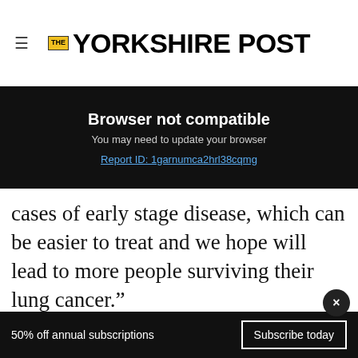THE YORKSHIRE POST
Browser not compatible
You may need to update your browser
Report ID: 1garnumca2hrl38cqmg
cases of early stage disease, which can be easier to treat and we hope will lead to more people surviving their lung cancer."
University Of Leeds
Yorkshire
Hampshire
[Figure (infographic): Pick n Pay advertisement: Everyday Exceptional, Any 2 R39, Simba Potato Chips Assorted 120g, SEE DEALS button]
50% off annual subscriptions   Subscribe today